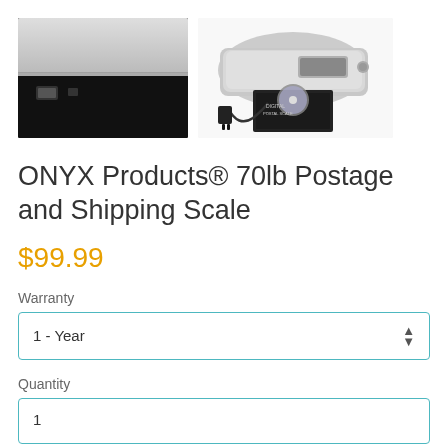[Figure (photo): Two product photos side by side: left shows a dark/black device with USB ports (close-up of the scale base), right shows a silver digital postal scale with accessories including a cable, adapter, and CD/manual.]
ONYX Products® 70lb Postage and Shipping Scale
$99.99
Warranty
1 - Year
Quantity
1